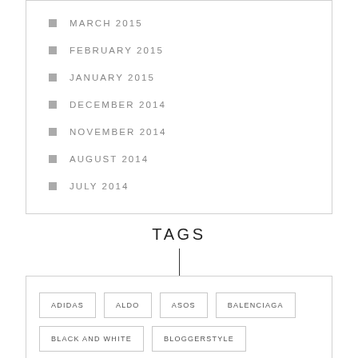MARCH 2015
FEBRUARY 2015
JANUARY 2015
DECEMBER 2014
NOVEMBER 2014
AUGUST 2014
JULY 2014
TAGS
ADIDAS
ALDO
ASOS
BALENCIAGA
BLACK AND WHITE
BLOGGERSTYLE